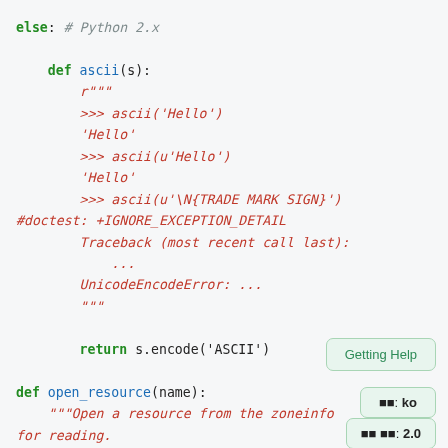[Figure (screenshot): Python source code snippet showing an else branch for Python 2.x with ascii() function definition including docstring with doctests, and beginning of open_resource() function definition. Overlaid UI buttons: Getting Help, language selector ko, version 2.0.]